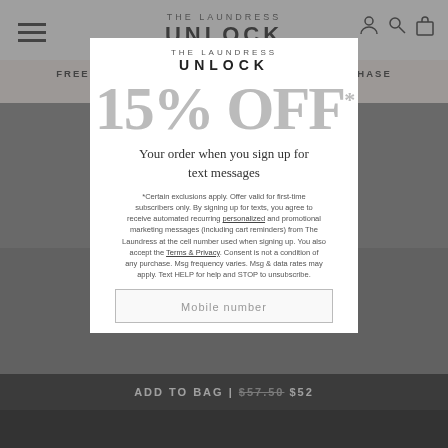THE LAUNDRESS UNLOCK
FREE GROUND SHIPPING WITH YOUR $50 PURCHASE See Details
UNLOCK 15% OFF
Your order when you sign up for text messages
*Certain exclusions apply. Offer valid for first-time subscribers only. By signing up for texts, you agree to receive automated recurring personalized and promotional marketing messages (including cart reminders) from The Laundress at the cell number used when signing up. You also accept the Terms & Privacy. Consent is not a condition of any purchase. Msg frequency varies. Msg & data rates may apply. Text HELP for help and STOP to unsubscribe.
Mobile number
ADD TO BAG | $57.50 $52